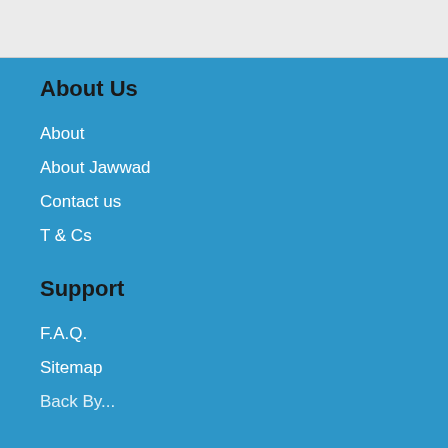About Us
About
About Jawwad
Contact us
T & Cs
Support
F.A.Q.
Sitemap
Back By...